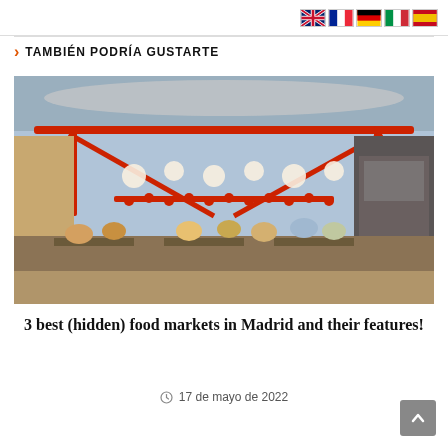5 great museums in Madrid (that you may not know yet)
TAMBIÉN PODRÍA GUSTARTE
[Figure (photo): Interior of a food market in Madrid with people sitting at tables, red metal structural beams overhead, hanging lanterns and decorations, market stalls in the background]
3 best (hidden) food markets in Madrid and their features!
17 de mayo de 2022